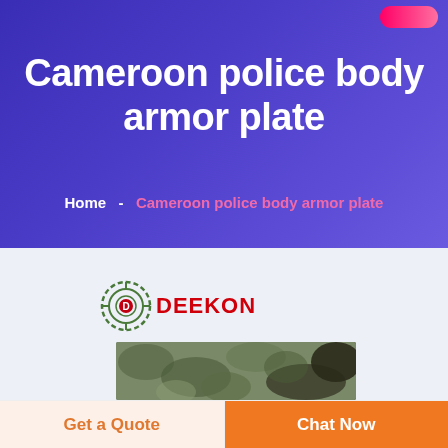Cameroon police body armor plate
Home  -  Cameroon police body armor plate
[Figure (logo): DEEKON brand logo with circular target/compass emblem in green and red, and red DEEKON text]
[Figure (photo): Partial view of camouflage body armor plate product]
Get a Quote
Chat Now